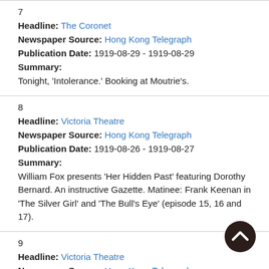7
Headline: The Coronet
Newspaper Source: Hong Kong Telegraph
Publication Date: 1919-08-29 - 1919-08-29
Summary:
Tonight, 'Intolerance.' Booking at Moutrie's.
8
Headline: Victoria Theatre
Newspaper Source: Hong Kong Telegraph
Publication Date: 1919-08-26 - 1919-08-27
Summary:
William Fox presents 'Her Hidden Past' featuring Dorothy Bernard. An instructive Gazette. Matinee: Frank Keenan in 'The Silver Girl' and 'The Bull's Eye' (episode 15, 16 and 17).
9
Headline: Victoria Theatre
Newspaper Source: Hong Kong Telegraph